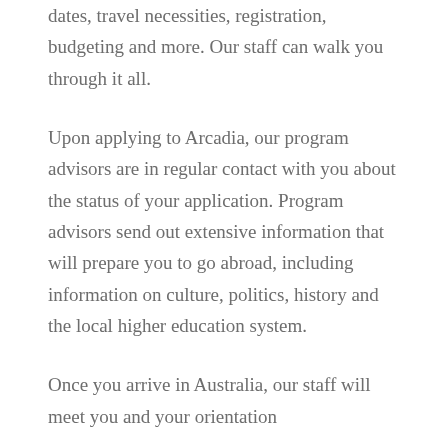dates, travel necessities, registration, budgeting and more. Our staff can walk you through it all.
Upon applying to Arcadia, our program advisors are in regular contact with you about the status of your application. Program advisors send out extensive information that will prepare you to go abroad, including information on culture, politics, history and the local higher education system.
Once you arrive in Australia, our staff will meet you and your orientation